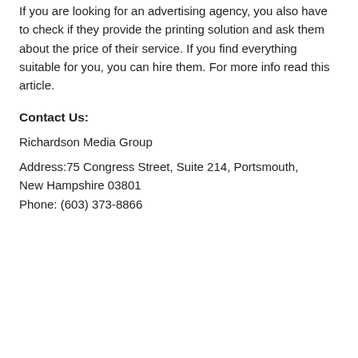If you are looking for an advertising agency, you also have to check if they provide the printing solution and ask them about the price of their service. If you find everything suitable for you, you can hire them. For more info read this article.
Contact Us:
Richardson Media Group
Address:75 Congress Street, Suite 214, Portsmouth, New Hampshire 03801
Phone: (603) 373-8866